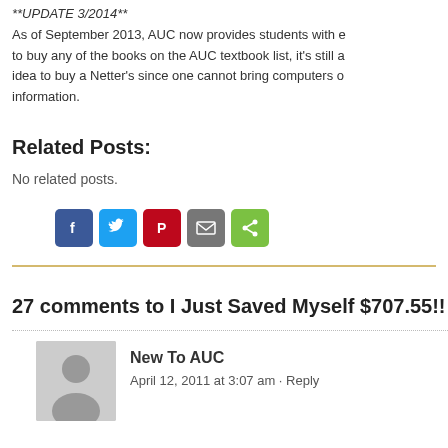**UPDATE 3/2014**
As of September 2013, AUC now provides students with e to buy any of the books on the AUC textbook list, it's still a idea to buy a Netter's since one cannot bring computers o information.
Related Posts:
No related posts.
[Figure (infographic): Social share buttons: Facebook (blue), Twitter (light blue), Pinterest (red), Email (gray), ShareThis (green)]
27 comments to I Just Saved Myself $707.55!!
New To AUC
April 12, 2011 at 3:07 am · Reply